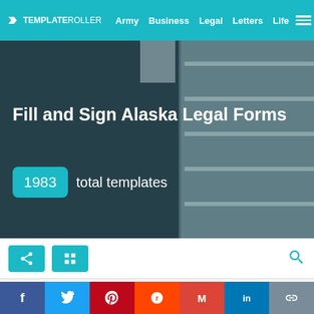TEMPLATEROLLER  Army  Business  Legal  Letters  Life
Fill and Sign Alaska Legal Forms
1983  total templates
[Figure (screenshot): Toolbar with share and grid view buttons, and a search icon on the right]
🏠 › Legal › United States Legal Forms › Alaska Legal Forms
Each U.S. state has its own forms and regulations when it comes to certain areas
f  t  p  reddit  M  in  link